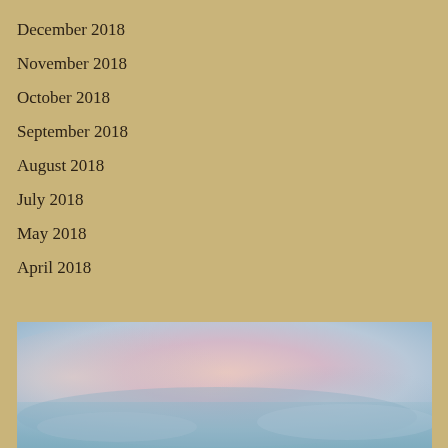December 2018
November 2018
October 2018
September 2018
August 2018
July 2018
May 2018
April 2018
[Figure (photo): Soft pastel sky photograph with blended pink, lavender, and blue tones suggesting clouds or sky at dusk/dawn]